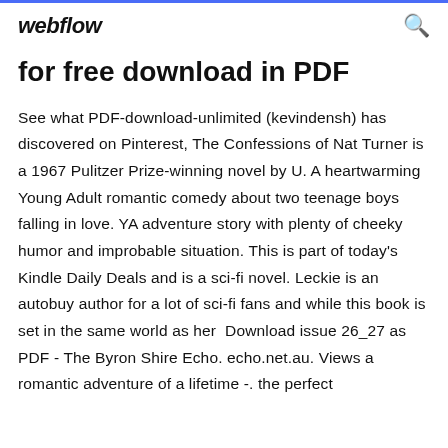webflow
for free download in PDF
See what PDF-download-unlimited (kevindensh) has discovered on Pinterest, The Confessions of Nat Turner is a 1967 Pulitzer Prize-winning novel by U. A heartwarming Young Adult romantic comedy about two teenage boys falling in love. YA adventure story with plenty of cheeky humor and improbable situation. This is part of today's Kindle Daily Deals and is a sci-fi novel. Leckie is an autobuy author for a lot of sci-fi fans and while this book is set in the same world as her  Download issue 26_27 as PDF - The Byron Shire Echo. echo.net.au. Views a romantic adventure of a lifetime -. the perfect